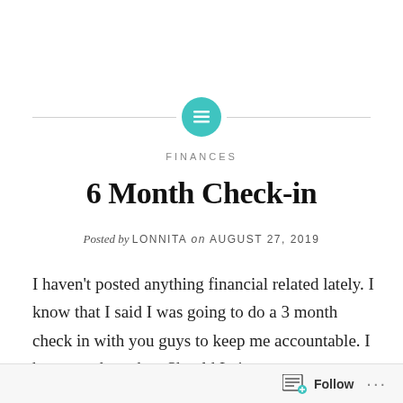[Figure (illustration): Teal circular icon with white horizontal lines (list/content icon), flanked by two horizontal gray divider lines]
FINANCES
6 Month Check-in
Posted by LONNITA on AUGUST 27, 2019
I haven't posted anything financial related lately. I know that I said I was going to do a 3 month check in with you guys to keep me accountable. I have not done that. Should I give my excuse now or forgo it and just say that I've done bad. I think I should give my excuse
Follow ...